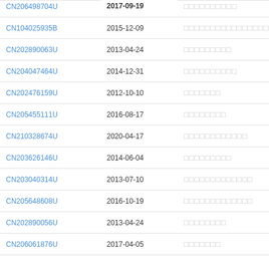| Patent Number | Date | Title |
| --- | --- | --- |
| CN206498704U | 2017-09-19 | □□□□□□□□□□ |
| CN104025935B | 2015-12-09 | □□□□□□□□□□□□□□□□□□□ |
| CN202890063U | 2013-04-24 | □□□□□□□□□ |
| CN204047464U | 2014-12-31 | □□□□□□□□□□ |
| CN202476159U | 2012-10-10 | □□□□□□□ |
| CN205455111U | 2016-08-17 | □□□□□□□□ |
| CN210328674U | 2020-04-17 | □□□□□□□□□□□□ |
| CN203626146U | 2014-06-04 | □□□□□□□□□ |
| CN203040314U | 2013-07-10 | □□□□□□□□□□□□□ |
| CN205648608U | 2016-10-19 | □□□□□□□□□□□□□ |
| CN202890056U | 2013-04-24 | □□□□□□□□ |
| CN206061876U | 2017-04-05 | □□□□□□□ |